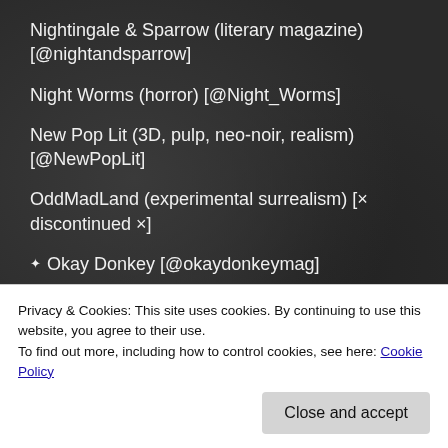Nightingale & Sparrow (literary magazine) [@nightandsparrow]
Night Worms (horror) [@Night_Worms]
New Pop Lit (3D, pulp, neo-noir, realism) [@NewPopLit]
OddMadLand (experimental surrealism) [× discontinued ×]
Okay Donkey [@okaydonkeymag]
Privacy & Cookies: This site uses cookies. By continuing to use this website, you agree to their use.
To find out more, including how to control cookies, see here: Cookie Policy
Close and accept